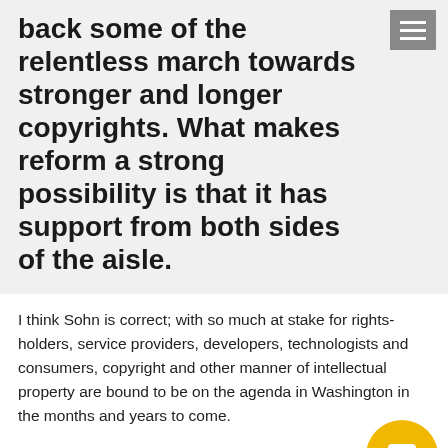back some of the relentless march towards stronger and longer copyrights. What makes reform a strong possibility is that it has support from both sides of the aisle.
I think Sohn is correct; with so much at stake for rights-holders, service providers, developers, technologists and consumers, copyright and other manner of intellectual property are bound to be on the agenda in Washington in the months and years to come.
Public Knowledge threw its hat into the copyright reform ring earlier this year, publishing what it calls The Internet Blueprint. Whether you like the blueprint's suggestion part, in full or not at all, it's an interesting read, and